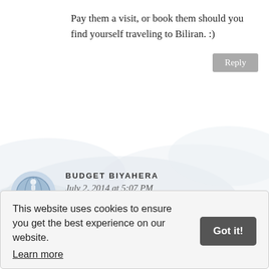Pay them a visit, or book them should you find yourself traveling to Biliran. :)
Reply
BUDGET BIYAHERA
July 2, 2014 at 5:07 PM
I did not know that there's BIliran Island too. Leyte is not in my bucket list but when I saw the Kalanggaman Island in the newspaper I know I have
This website uses cookies to ensure you get the best experience on our website. Learn more Got it!